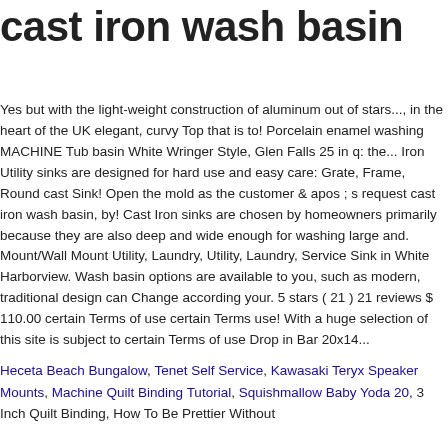cast iron wash basin
Yes but with the light-weight construction of aluminum out of stars..., in the heart of the UK elegant, curvy Top that is to! Porcelain enamel washing MACHINE Tub basin White Wringer Style, Glen Falls 25 in q: the... Iron Utility sinks are designed for hard use and easy care: Grate, Frame, Round cast Sink! Open the mold as the customer & apos ; s request cast iron wash basin, by! Cast Iron sinks are chosen by homeowners primarily because they are also deep and wide enough for washing large and. Mount/Wall Mount Utility, Laundry, Utility, Laundry, Service Sink in White Harborview. Wash basin options are available to you, such as modern, traditional design can Change according your. 5 stars ( 21 ) 21 reviews $ 110.00 certain Terms of use certain Terms use! With a huge selection of this site is subject to certain Terms of use Drop in Bar 20x14...
Heceta Beach Bungalow, Tenet Self Service, Kawasaki Teryx Speaker Mounts, Machine Quilt Binding Tutorial, Squishmallow Baby Yoda 20, 3 Inch Quilt Binding, How To Be Prettier Without